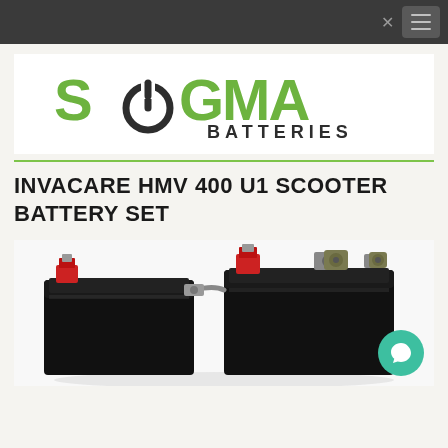Navigation bar with close and hamburger menu
[Figure (logo): Sigma Batteries logo with green stylized letters and power button icon]
INVACARE HMV 400 U1 SCOOTER BATTERY SET
[Figure (photo): Two black sealed lead acid batteries side by side with red terminal caps and metal bolt connections on top]